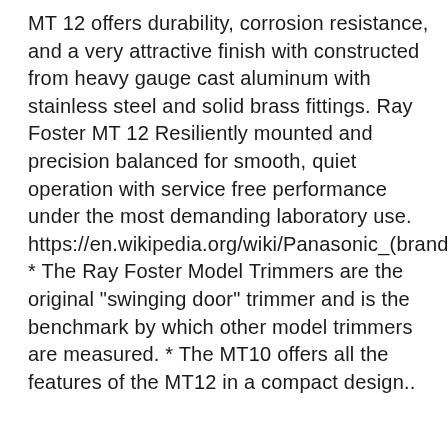MT 12 offers durability, corrosion resistance, and a very attractive finish with constructed from heavy gauge cast aluminum with stainless steel and solid brass fittings. Ray Foster MT 12 Resiliently mounted and precision balanced for smooth, quiet operation with service free performance under the most demanding laboratory use. https://en.wikipedia.org/wiki/Panasonic_(brand) * The Ray Foster Model Trimmers are the original "swinging door" trimmer and is the benchmark by which other model trimmers are measured. * The MT10 offers all the features of the MT12 in a compact design..